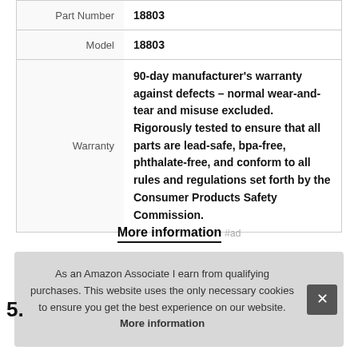| Part Number | 18803 |
| Model | 18803 |
| Warranty | 90-day manufacturer's warranty against defects – normal wear-and-tear and misuse excluded. Rigorously tested to ensure that all parts are lead-safe, bpa-free, phthalate-free, and conform to all rules and regulations set forth by the Consumer Products Safety Commission. |
More information #ad
As an Amazon Associate I earn from qualifying purchases. This website uses the only necessary cookies to ensure you get the best experience on our website. More information
5.